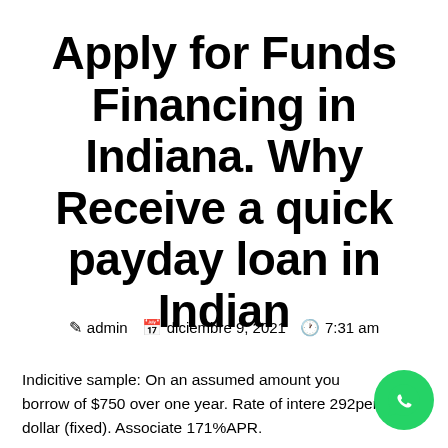Apply for Funds Financing in Indiana. Why Receive a quick payday loan in Indian
admin   diciembre 9, 2021   7:31 am
Indicitive sample: On an assumed amount you borrow of $750 over one year. Rate of interest 292per dollar (fixed). Associate 171%APR.